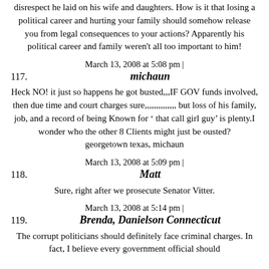disrespect he laid on his wife and daughters. How is it that losing a political career and hurting your family should somehow release you from legal consequences to your actions? Apparently his political career and family weren't all too important to him!
March 13, 2008 at 5:08 pm |
117. michaun
Heck NO! it just so happens he got busted,,,IF GOV funds involved, then due time and court charges sure,,,,,,,,,,,,,, but loss of his family, job, and a record of being Known for ' that call girl guy' is plenty.I wonder who the other 8 Clients might just be ousted?
georgetown texas, michaun
March 13, 2008 at 5:09 pm |
118. Matt
Sure, right after we prosecute Senator Vitter.
March 13, 2008 at 5:14 pm |
119. Brenda, Danielson Connecticut
The corrupt politicians should definitely face criminal charges. In fact, I believe every government official should